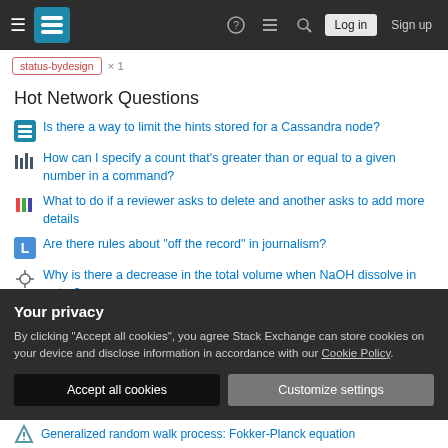Stack Exchange navigation bar with hamburger menu, logo, help, chat, search, Log in, Sign up
status-bydesign × 1
Hot Network Questions
Is there a way to limit the hints stored for a Cassandra node?
How can I specify a count that's greater than or equal to a given number in a command?
What to do if a reviewer asks to delete and another asks to add more details
Are there rules about "off the record" in journalism?
Why is there a decrease in the total volume when NaOH dissolve in water?
Your privacy
By clicking "Accept all cookies", you agree Stack Exchange can store cookies on your device and disclose information in accordance with our Cookie Policy.
Accept all cookies  Customize settings
Generalized random walk process: Fokker-Planck equation